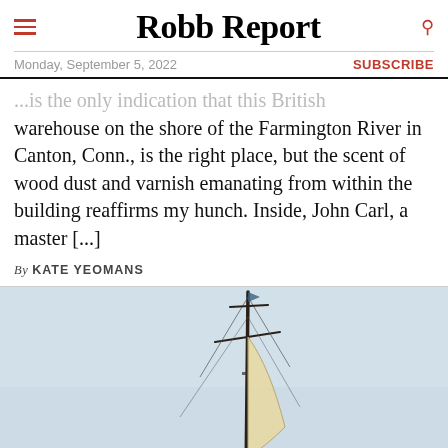Robb Report
Monday, September 5, 2022
SUBSCRIBE
...is the only indication that this British warehouse on the shore of the Farmington River in Canton, Conn., is the right place, but the scent of wood dust and varnish emanating from within the building reaffirms my hunch. Inside, John Carl, a master [...]
By KATE YEOMANS
[Figure (photo): A sailing mast with rigging and a partial sail visible against a light blue-grey sky]